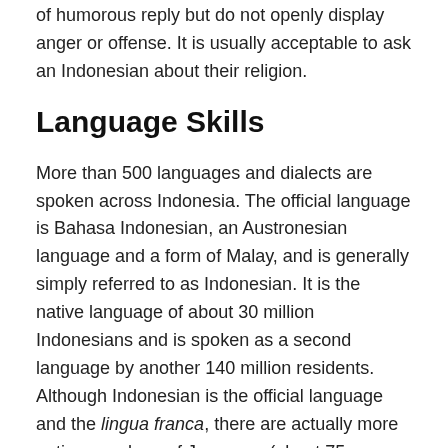or humorous reply but do not openly display anger or offense. It is usually acceptable to ask an Indonesian about their religion.
Language Skills
More than 500 languages and dialects are spoken across Indonesia. The official language is Bahasa Indonesian, an Austronesian language and a form of Malay, and is generally simply referred to as Indonesian. It is the native language of about 30 million Indonesians and is spoken as a second language by another 140 million residents. Although Indonesian is the official language and the lingua franca, there are actually more native speakers of Javanese (about 75 million). Outside of business and tourism contexts, most locals do not speak much English, so it's a good idea to learn Indonesian if you're staying for the long term. Locals will be